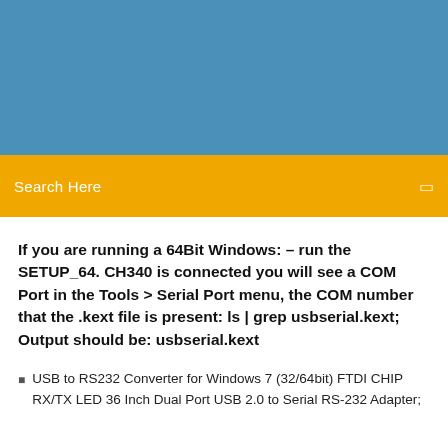[Figure (other): Blue banner header area at the top of the page]
Search Here
If you are running a 64Bit Windows: – run the SETUP_64. CH340 is connected you will see a COM Port in the Tools > Serial Port menu, the COM number that the .kext file is present: ls | grep usbserial.kext; Output should be: usbserial.kext
USB to RS232 Converter for Windows 7 (32/64bit) FTDI CHIP RX/TX LED 36 Inch Dual Port USB 2.0 to Serial RS-232 Adapter;